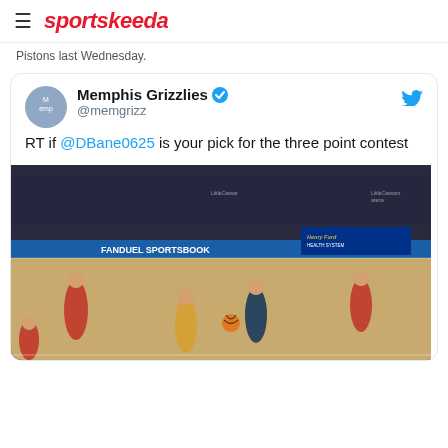sportskeeda
Pistons last Wednesday.
[Figure (screenshot): Embedded tweet from Memphis Grizzlies (@memgrizz) with verified badge, reading: RT if @DBane0625 is your pick for the three point contest. Below the tweet text is a basketball game photo showing players on an NBA court with FanDuel Sportsbook and Henry Ford Health System signage, and LittleCaesars arena branding.]